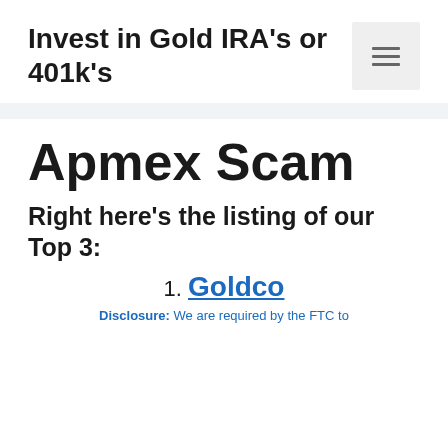Invest in Gold IRA's or 401k's
Apmex Scam
Right here's the listing of our Top 3:
1. Goldco
Disclosure: We are required by the FTC to